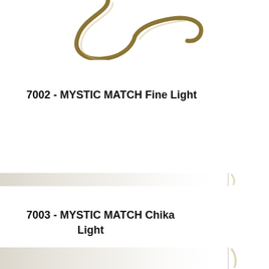[Figure (photo): Partial view of a fishing hook (bronze/gold colored) shown at the top of the page, cropped — only the top curve and point visible.]
7002 - MYSTIC MATCH Fine Light
[Figure (photo): Page section separator shadow/divider indicating a new product section below. Right side shows partial shadow of another fishing hook.]
7003 - MYSTIC MATCH Chika Light
[Figure (photo): Bottom section shows beginning of another product section with a partial shadow/hook image at the bottom right.]